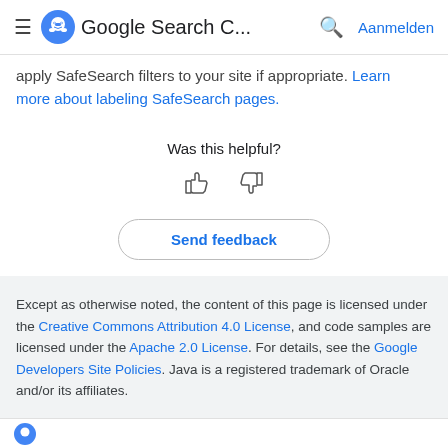Google Search C... Aanmelden
apply SafeSearch filters to your site if appropriate. Learn more about labeling SafeSearch pages.
Was this helpful?
[Figure (illustration): Thumbs up and thumbs down icons for helpfulness rating]
Send feedback
Except as otherwise noted, the content of this page is licensed under the Creative Commons Attribution 4.0 License, and code samples are licensed under the Apache 2.0 License. For details, see the Google Developers Site Policies. Java is a registered trademark of Oracle and/or its affiliates.

Last updated 2022-08-19 UTC.